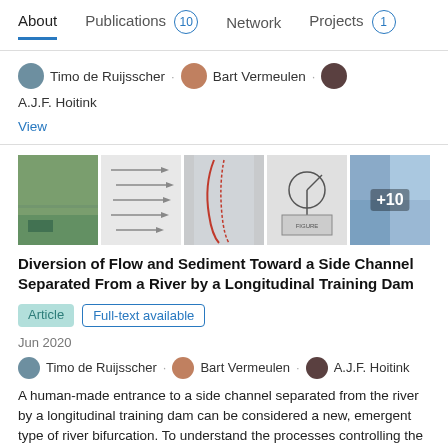About | Publications 10 | Network | Projects 1
Timo de Ruijsscher · Bart Vermeulen · A.J.F. Hoitink
View
[Figure (photo): Five thumbnail images of research figures including aerial photo, flow vector diagrams, sediment maps, and satellite imagery with +10 overlay badge]
Diversion of Flow and Sediment Toward a Side Channel Separated From a River by a Longitudinal Training Dam
Article | Full-text available
Jun 2020
Timo de Ruijsscher · Bart Vermeulen · A.J.F. Hoitink
A human-made entrance to a side channel separated from the river by a longitudinal training dam can be considered a new, emergent type of river bifurcation. To understand the processes controlling the diversion of flow and sediment toward the side channel at such bifurcations, a comprehensive field monitoring